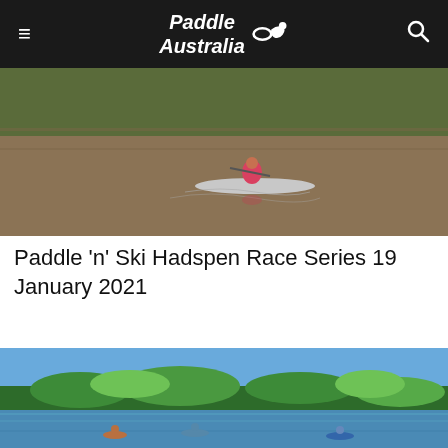Paddle Australia
[Figure (photo): A person in a pink shirt paddling a kayak on a calm brown river, seen from a distance, with green reeds and grass on the far bank.]
Paddle ‘n’ Ski Hadspen Race Series 19 January 2021
[Figure (photo): A wide river scene under a bright blue sky, with dense green trees lining the far bank. Several kayakers can be seen paddling in the distance on the blue-green water.]